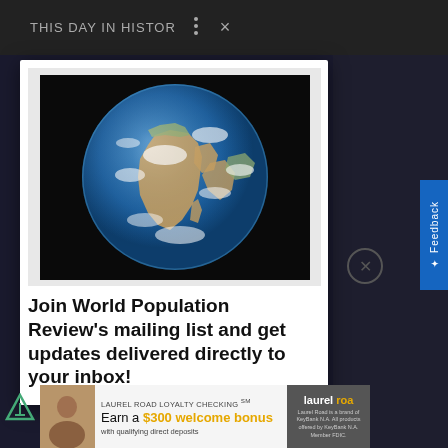This Day in History
[Figure (screenshot): Screenshot of a web browser showing a modal popup on the World Population Review website. The modal contains a satellite photo of Earth (globe showing Africa, Europe, and Asia) and a mailing list signup prompt. Behind the modal is a dark background. A 'This Day in History' navigation bar is visible at the top. A Laurel Road Loyalty Checking advertisement banner is visible at the bottom.]
Join World Population Review's mailing list and get updates delivered directly to your inbox!